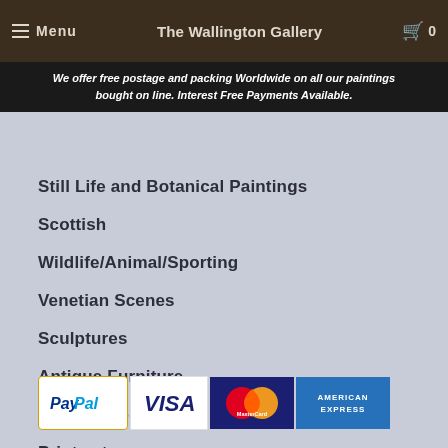Menu | The Wallington Gallery | 0
We offer free postage and packing Worldwide on all our paintings bought on line. Interest Free Payments Available.
Still Life and Botanical Paintings
Scottish
Wildlife/Animal/Sporting
Venetian Scenes
Sculptures
Antique Furniture
Sell My Work
Prints etc..
Archive
Gift Card
[Figure (logo): Payment method logos: PayPal, Visa, MasterCard, American Express]